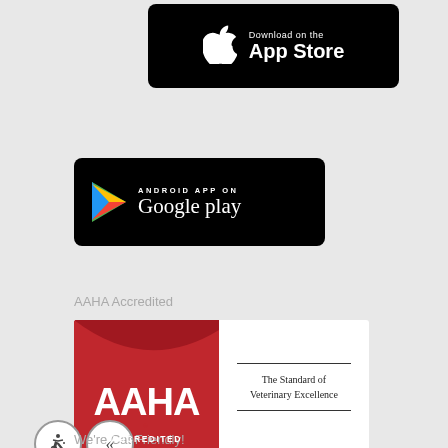[Figure (logo): Apple App Store download badge — black rounded rectangle with white Apple logo and 'Download on the App Store' text]
[Figure (logo): Google Play store badge — black rounded rectangle with Google Play triangle logo and 'ANDROID APP ON Google play' text]
AAHA Accredited
[Figure (logo): AAHA Accredited badge — white rectangle with red block showing AAHA logo and ACCREDITED text, right side shows 'The Standard of Veterinary Excellence']
We're Cat Friendly!